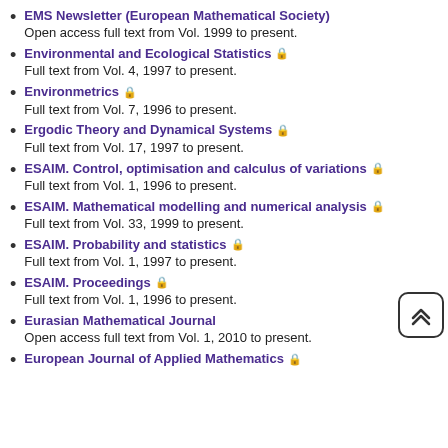EMS Newsletter (European Mathematical Society)
Open access full text from Vol. 1999 to present.
Environmental and Ecological Statistics [lock]
Full text from Vol. 4, 1997 to present.
Environmetrics [lock]
Full text from Vol. 7, 1996 to present.
Ergodic Theory and Dynamical Systems [lock]
Full text from Vol. 17, 1997 to present.
ESAIM. Control, optimisation and calculus of variations [lock]
Full text from Vol. 1, 1996 to present.
ESAIM. Mathematical modelling and numerical analysis [lock]
Full text from Vol. 33, 1999 to present.
ESAIM. Probability and statistics [lock]
Full text from Vol. 1, 1997 to present.
ESAIM. Proceedings [lock]
Full text from Vol. 1, 1996 to present.
Eurasian Mathematical Journal
Open access full text from Vol. 1, 2010 to present.
European Journal of Applied Mathematics [lock]